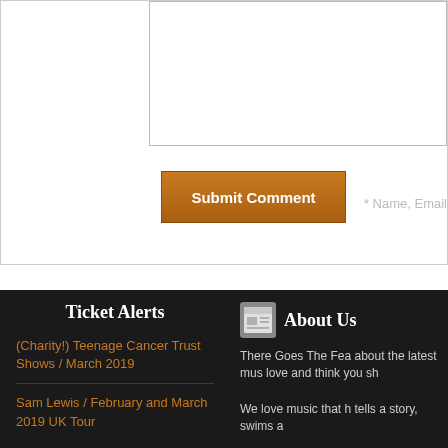[Figure (screenshot): Comment form textarea input box, partially visible at top of page]
Submit Comment
* Name, Email
Ticket Alerts
(Charity!) Teenage Cancer Trust Shows / March 2019
Sam Lewis / February and March 2019 UK Tour
About Us
There Goes The Fea about the latest mus love and think you sh
We love music that h tells a story, swims a